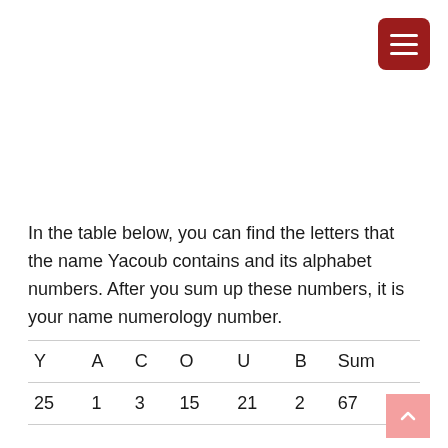In the table below, you can find the letters that the name Yacoub contains and its alphabet numbers. After you sum up these numbers, it is your name numerology number.
| Y | A | C | O | U | B | Sum |
| --- | --- | --- | --- | --- | --- | --- |
| 25 | 1 | 3 | 15 | 21 | 2 | 67 |